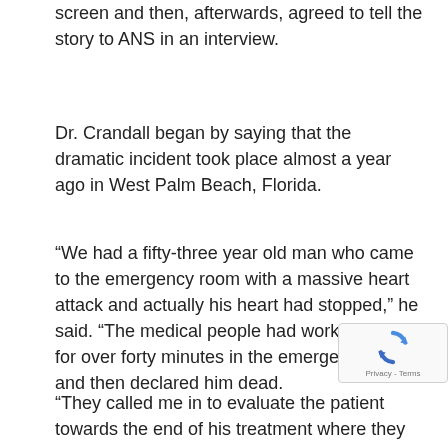screen and then, afterwards, agreed to tell the story to ANS in an interview.
Dr. Crandall began by saying that the dramatic incident took place almost a year ago in West Palm Beach, Florida.
“We had a fifty-three year old man who came to the emergency room with a massive heart attack and actually his heart had stopped,” he said. “The medical people had worked on him for over forty minutes in the emergency room and then declared him dead.
“They called me in to evaluate the patient towards the end of his treatment where they had unsuccessfully to revive him. The nurse was preparing his body to taken down to the morgue when the Holy Spirit told me